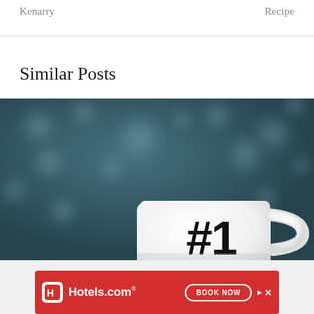Kenarry    Recipe
Similar Posts
[Figure (photo): A white coffee mug with '#1' printed on it in large bold black text, set against a blurred teal/dark blue bokeh background. The mug is cropped showing roughly the top half, with its handle visible on the right side.]
[Figure (other): Hotels.com advertisement banner in red. Shows Hotels.com logo on the left with a white H icon in a red rounded square, and 'BOOK NOW' button outline on the right. Has navigation/close controls in top right.]